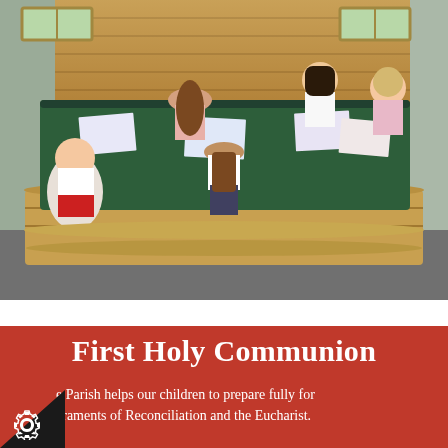[Figure (photo): Children sitting around a green-topped wooden table inside a wooden outdoor shelter, drawing or writing on paper. Five children visible: one boy on the left in white shirt and red shorts, and four girls. Two windows visible in the wooden wall behind them.]
First Holy Communion
e Parish helps our children to prepare fully for craments of Reconciliation and the Eucharist.